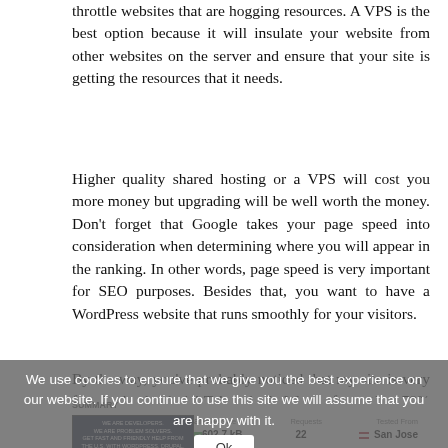throttle websites that are hogging resources. A VPS is the best option because it will insulate your website from other websites on the server and ensure that your site is getting the resources that it needs.
Higher quality shared hosting or a VPS will cost you more money but upgrading will be well worth the money. Don't forget that Google takes your page speed into consideration when determining where you will appear in the ranking. In other words, page speed is very important for SEO purposes. Besides that, you want to have a WordPress website that runs smoothly for your visitors.
By the way, you've probably noticed that my site is very fast. It absolutely is! Take a look. We are faster than 78% of the websites on the Internet:
[Figure (screenshot): Website speed test result widget showing a score of 97, load time of 1.61s, and faster than 78% of websites. Also shows a website thumbnail with dark background and text 'WE ARE DEVELOPERS, WE ARE PROBLEM SOLVERS, GET FAST AND FRIENDLY HELP FROM THE U.S. WITH WORDPRESS, DRUPAL, WIX, AND MANY MORE.' with red and green buttons. Bottom row shows Page size 602.7 kB, Requests 22, Tested from San Jose.]
We use cookies to ensure that we give you the best experience on our website. If you continue to use this site we will assume that you are happy with it.